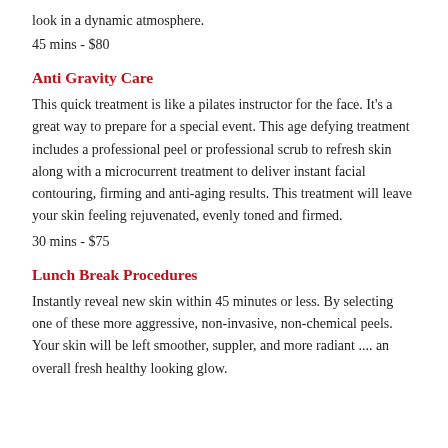look in a dynamic atmosphere.
45 mins - $80
Anti Gravity Care
This quick treatment is like a pilates instructor for the face. It's a great way to prepare for a special event. This age defying treatment includes a professional peel or professional scrub to refresh skin along with a microcurrent treatment to deliver instant facial contouring, firming and anti-aging results. This treatment will leave your skin feeling rejuvenated, evenly toned and firmed.
30 mins - $75
Lunch Break Procedures
Instantly reveal new skin within 45 minutes or less. By selecting one of these more aggressive, non-invasive, non-chemical peels. Your skin will be left smoother, suppler, and more radiant .... an overall fresh healthy looking glow.